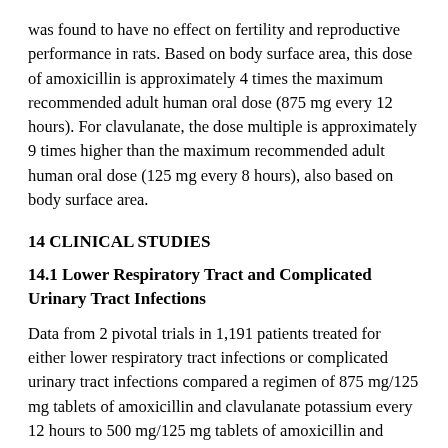was found to have no effect on fertility and reproductive performance in rats. Based on body surface area, this dose of amoxicillin is approximately 4 times the maximum recommended adult human oral dose (875 mg every 12 hours). For clavulanate, the dose multiple is approximately 9 times higher than the maximum recommended adult human oral dose (125 mg every 8 hours), also based on body surface area.
14 CLINICAL STUDIES
14.1 Lower Respiratory Tract and Complicated Urinary Tract Infections
Data from 2 pivotal trials in 1,191 patients treated for either lower respiratory tract infections or complicated urinary tract infections compared a regimen of 875 mg/125 mg tablets of amoxicillin and clavulanate potassium every 12 hours to 500 mg/125 mg tablets of amoxicillin and clavulanate potassium dosed every 8 hours (584 and 607 patients, respectively). Comparable efficacy was demonstrated between the every 12 hours and every 8 hours dosing regimens. There was no significant difference in the percentage of adverse events in each group. The most frequently reported adverse event was diarrhea; incidence rates were similar for the 875 mg/125 mg every 12